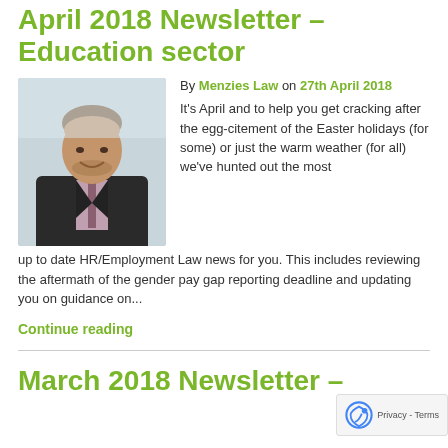April 2018 Newsletter – Education sector
[Figure (photo): Professional headshot of a man in a dark suit, smiling, against a light background]
By Menzies Law on 27th April 2018
It's April and to help you get cracking after the egg-citement of the Easter holidays (for some) or just the warm weather (for all) we've hunted out the most up to date HR/Employment Law news for you. This includes reviewing the aftermath of the gender pay gap reporting deadline and updating you on guidance on...
Continue reading
March 2018 Newsletter –